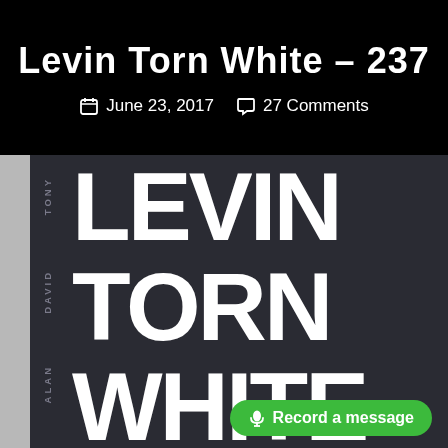Levin Torn White – 237
June 23, 2017   27 Comments
[Figure (photo): CD album cover for 'Levin Torn White' featuring the names TONY (top), DAVID (middle), ALAN (bottom) in small text along the left side, with the large bold white words LEVIN, TORN, WHITE stacked vertically on a dark background. A green 'Record a message' button overlay appears at the bottom right.]